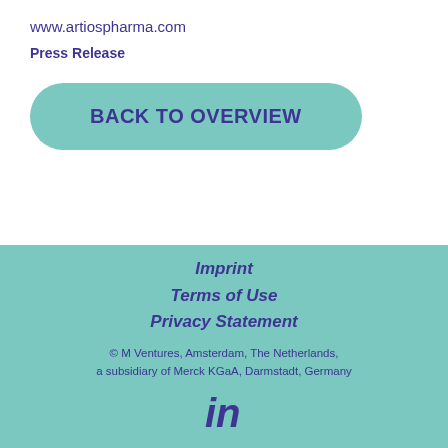www.artiospharma.com
Press Release
BACK TO OVERVIEW
Imprint
Terms of Use
Privacy Statement
© M Ventures, Amsterdam, The Netherlands, a subsidiary of Merck KGaA, Darmstadt, Germany
[Figure (logo): LinkedIn icon (in)]